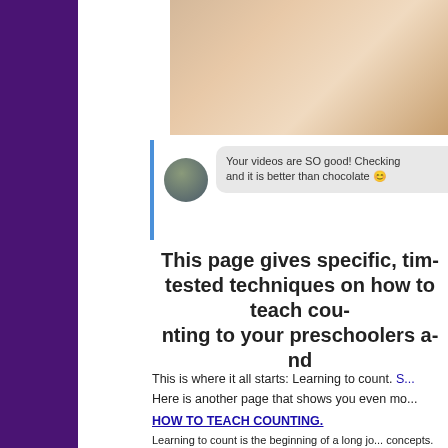[Figure (photo): Photo of colorful building blocks and educational toys on a white surface, partially cropped at top]
Your videos are SO good! Checking and it is better than chocolate 😊
This page gives specific, time-tested techniques on how to teach counting to your preschoolers and
This is where it all starts: Learning to count. S...
Here is another page that shows you even mo...
HOW TO TEACH COUNTING.
Learning to count is the beginning of a long journey into math concepts.
First hurdle: counting to 5.